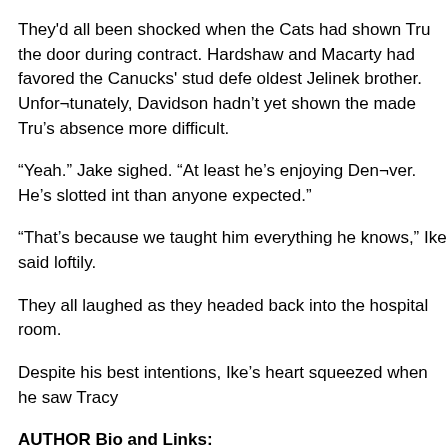They'd all been shocked when the Cats had shown Tru the door during contract. Hardshaw and Macarty had favored the Canucks' stud defe oldest Jelinek brother. Unfor¬tunately, Davidson hadn't yet shown the made Tru's absence more difficult.
“Yeah.” Jake sighed. “At least he's enjoying Den¬ver. He's slotted int than anyone expected.”
“That's because we taught him everything he knows,” Ike said loftily.
They all laughed as they headed back into the hospital room.
Despite his best intentions, Ike's heart squeezed when he saw Tracy
AUTHOR Bio and Links:
Harlequin SuperRomance author, Anna Sugden, loves reading and w When not reading or watching hockey, she loves football, good food and collecting memorabilia, penguins and fab shoes!